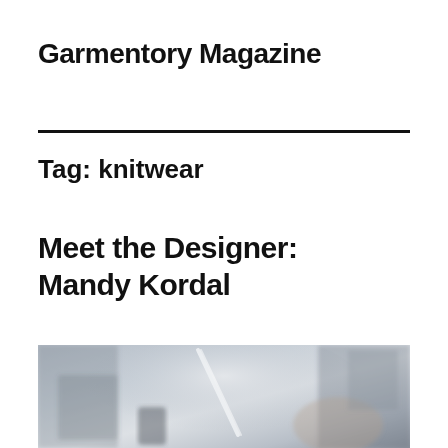Garmentory Magazine
Tag: knitwear
Meet the Designer: Mandy Kordal
[Figure (photo): Blurred background photo of a person, likely at a trade show or studio environment, with knitting needles or similar object visible in the foreground.]